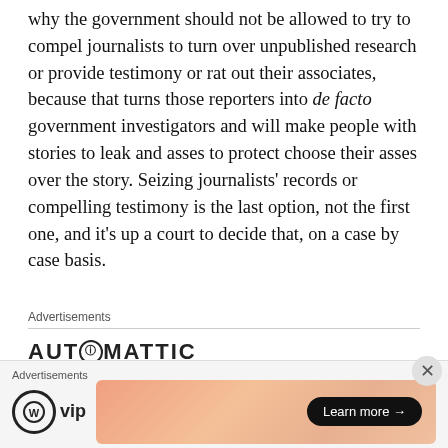why the government should not be allowed to try to compel journalists to turn over unpublished research or provide testimony or rat out their associates, because that turns those reporters into de facto government investigators and will make people with stories to leak and asses to protect choose their asses over the story. Seizing journalists' records or compelling testimony is the last option, not the first one, and it's up a court to decide that, on a case by case basis.
Advertisements
[Figure (logo): Automattic logo with stylized O and Build a better web text]
Advertisements
[Figure (logo): WordPress VIP logo]
[Figure (other): Advertisement banner with gradient background showing Learn more button]